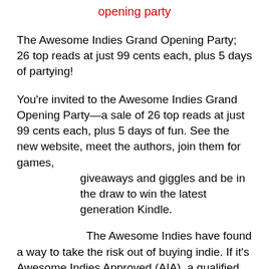opening party
The Awesome Indies Grand Opening Party; 26 top reads at just 99 cents each, plus 5 days of partying!
You're invited to the Awesome Indies Grand Opening Party—a sale of 26 top reads at just 99 cents each, plus 5 days of fun. See the new website, meet the authors, join them for games, giveaways and giggles and be in the draw to win the latest generation Kindle.
The Awesome Indies have found a way to take the risk out of buying indie. If it's Awesome Indies Approved (AIA), a qualified publishing industry professional has determined